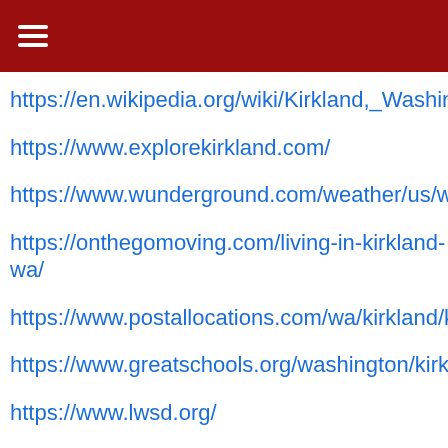≡
https://en.wikipedia.org/wiki/Kirkland,_Washington
https://www.explorekirkland.com/
https://www.wunderground.com/weather/us/wa/ki
https://onthegomoving.com/living-in-kirkland-wa/
https://www.postallocations.com/wa/kirkland/kirkla
https://www.greatschools.org/washington/kirkland
https://www.lwsd.org/
https://kcls.org/locations/kirkland/
https://...